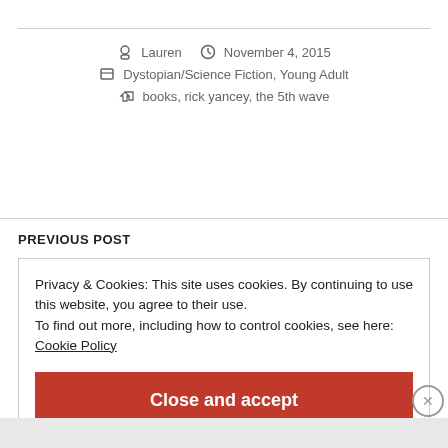Lauren  November 4, 2015
Dystopian/Science Fiction, Young Adult
books, rick yancey, the 5th wave
PREVIOUS POST
Privacy & Cookies: This site uses cookies. By continuing to use this website, you agree to their use.
To find out more, including how to control cookies, see here:
Cookie Policy
Close and accept